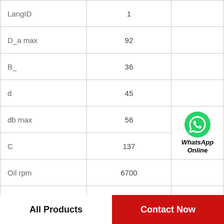| Parameter | Value |  |
| --- | --- | --- |
| LangID | 1 |  |
| D_a max | 92 |  |
| B_ | 36 |  |
| d | 45 |  |
| db max | 56 | WhatsApp Online |
| C | 137 |  |
| Oil rpm | 6700 |  |
| dc min | 60 |  |
| C_conv | 137000 |  |
All Products   Contact Now